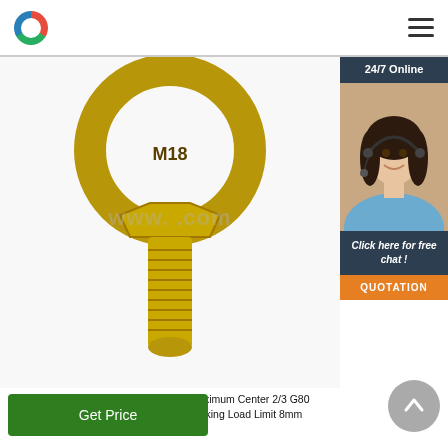[Figure (screenshot): Website navigation bar with circular logo (red/green/blue) on left and hamburger menu icon on right]
[Figure (photo): Gold/yellow zinc-plated eye bolt (M18) with hexagonal flange and threaded shank, product photo on white background with watermark www.[domain].com]
[Figure (photo): 24/7 Online chat widget on right side with dark header, photo of female customer service representative with headset, 'Click here for free chat!' text, and orange QUOTATION button]
G80 European Type Connecting Link - Maximum Center 2/3 G80 European Type Connecting Link. Size Working Load Limit 8mm 2.00T 10mm 3.20T 13mm 5.40T 16mm
[Figure (other): Green 'Get Price' button]
[Figure (other): Grey circular back-to-top arrow button]